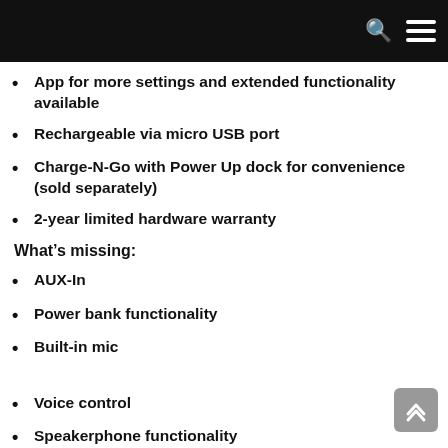Navigation bar with search and menu icons
App for more settings and extended functionality available
Rechargeable via micro USB port
Charge-N-Go with Power Up dock for convenience (sold separately)
2-year limited hardware warranty
What's missing:
AUX-In
Power bank functionality
Built-in mic
Voice control
Speakerphone functionality